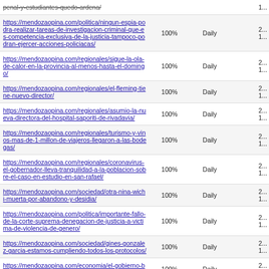| URL | Priority | Change Frequency | Last Modified |
| --- | --- | --- | --- |
| penal-y-estudiantes-quedo-ardena/ [strikethrough] | 1 | Daily | 2...1... |
| https://mendozaopina.com/politica/ningun-espia-podra-realizar-tareas-de-investigacion-criminal-que-es-competencia-exclusiva-de-la-justicia-tampoco-podran-ejercer-acciones-policiacas/ | 100% | Daily | 2...1... |
| https://mendozaopina.com/regionales/sigue-la-ola-de-calor-en-la-provincia-al-menos-hasta-el-domingo/ | 100% | Daily | 2...1... |
| https://mendozaopina.com/regionales/el-fleming-tiene-nuevo-director/ | 100% | Daily | 2...1... |
| https://mendozaopina.com/regionales/asumio-la-nueva-directora-del-hospital-saporiti-de-rivadavia/ | 100% | Daily | 2...1... |
| https://mendozaopina.com/regionales/turismo-y-vinos-mas-de-1-millon-de-viajeros-llegaron-a-las-bodegas/ | 100% | Daily | 2...1... |
| https://mendozaopina.com/regionales/coronavirus-el-gobernador-lleva-tranquilidad-a-la-poblacion-sobre-el-caso-en-estudio-en-san-rafael/ | 100% | Daily | 2...1... |
| https://mendozaopina.com/sociedad/otra-nina-wichi-muerta-por-abandono-y-desidia/ | 100% | Daily | 2...1... |
| https://mendozaopina.com/politica/importante-fallo-de-la-corte-suprema-denegacion-de-justicia-a-victima-de-violencia-de-genero/ | 100% | Daily | 2...1... |
| https://mendozaopina.com/sociedad/gines-gonzalez-garcia-estamos-cumpliendo-todos-los-protocolos/ | 100% | Daily | 2...1... |
| https://mendozaopina.com/economia/el-gobierno-busca-regular-las-apps-de-delivery/ | 100% | Daily | 2...1... |
| https://mendozaopina.com/sociedad/la-anmat-prohibio-una-leche-de-coco-y-dos-aceites-de-olivas/ | 100% | Daily | 2...1... |